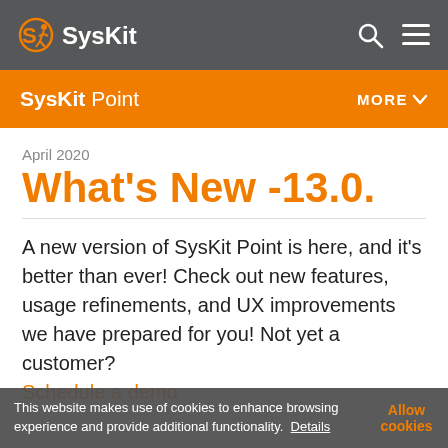SysKit
SysKit Point | MORE
April 2020
What's New -13.0.
A new version of SysKit Point is here, and it's better than ever! Check out new features, usage refinements, and UX improvements we have prepared for you! Not yet a customer? Schedule a demo
This website makes use of cookies to enhance browsing experience and provide additional functionality. Details | Allow cookies